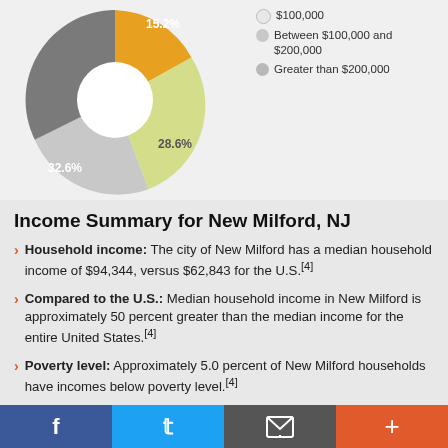[Figure (donut-chart): Household Income Distribution - New Milford NJ]
Income Summary for New Milford, NJ
Household income: The city of New Milford has a median household income of $94,344, versus $62,843 for the U.S.[4]
Compared to the U.S.: Median household income in New Milford is approximately 50 percent greater than the median income for the entire United States.[4]
Poverty level: Approximately 5.0 percent of New Milford households have incomes below poverty level.[4]
Electric bills: The average residential electricity bill in New